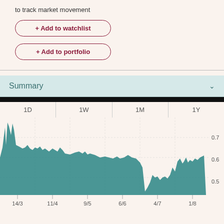to track market movement
+ Add to watchlist
+ Add to portfolio
Summary
[Figure (area-chart): Price chart]